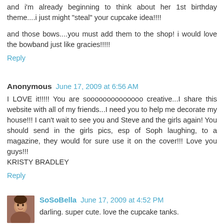and i'm already beginning to think about her 1st birthday theme....i just might "steal" your cupcake idea!!!!
and those bows....you must add them to the shop! i would love the bowband just like gracies!!!!!
Reply
Anonymous  June 17, 2009 at 6:56 AM
I LOVE it!!!!! You are soooooooooooooo creative...I share this website with all of my friends...I need you to help me decorate my house!!! I can't wait to see you and Steve and the girls again! You should send in the girls pics, esp of Soph laughing, to a magazine, they would for sure use it on the cover!!! Love you guys!!!
KRISTY BRADLEY
Reply
SoSoBella  June 17, 2009 at 4:52 PM
darling. super cute. love the cupcake tanks.